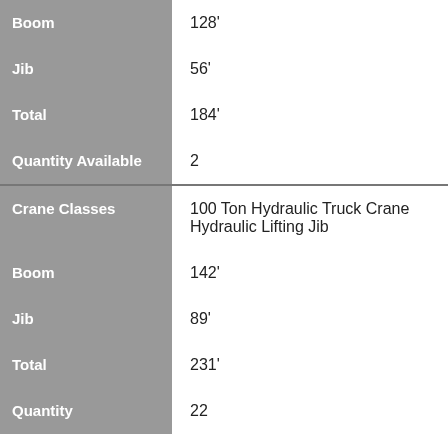| Field | Value |
| --- | --- |
| Boom | 128' |
| Jib | 56' |
| Total | 184' |
| Quantity Available | 2 |
| Crane Classes | 100 Ton Hydraulic Truck Crane Hydraulic Lifting Jib |
| Boom | 142' |
| Jib | 89' |
| Total | 231' |
| Quantity | 22 |